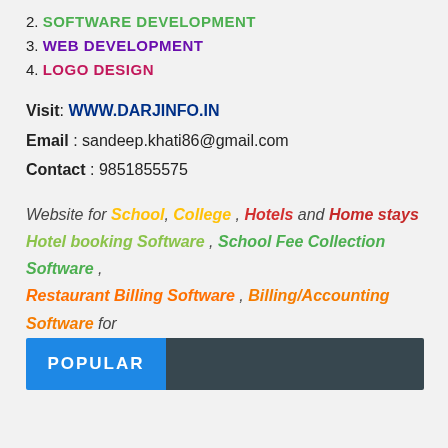2. SOFTWARE DEVELOPMENT
3. WEB DEVELOPMENT
4. LOGO DESIGN
Visit: WWW.DARJINFO.IN
Email : sandeep.khati86@gmail.com
Contact : 9851855575
Website for School, College , Hotels and Home stays Hotel booking Software , School Fee Collection Software , Restaurant Billing Software , Billing/Accounting Software for Shops and Stores
POPULAR